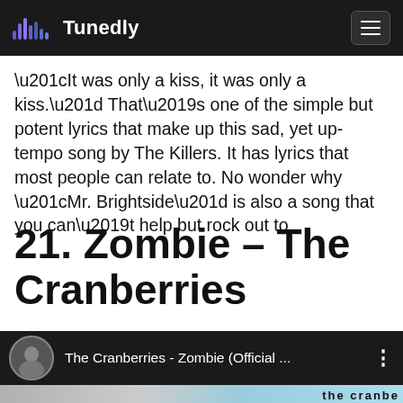Tunedly
“It was only a kiss, it was only a kiss.” That’s one of the simple but potent lyrics that make up this sad, yet up-tempo song by The Killers. It has lyrics that most people can relate to. No wonder why “Mr. Brightside” is also a song that you can’t help but rock out to.
21. Zombie – The Cranberries
[Figure (screenshot): YouTube-style video tile showing 'The Cranberries - Zombie (Official ...' with circular album art thumbnail on dark background]
[Figure (photo): Bottom strip showing partial image with 'the cranbe' text visible, appears to be a music video or promotional image for The Cranberries]